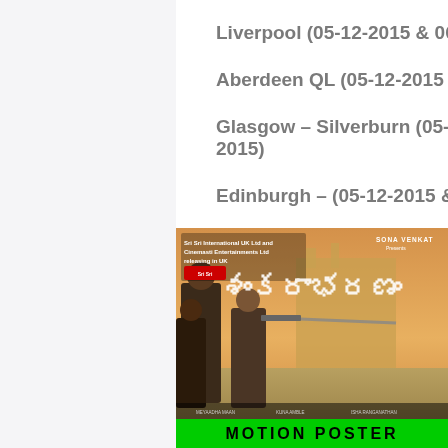Liverpool  (05-12-2015 & 06-12-2015)
Aberdeen QL (05-12-2015 & 06-12-2015)
Glasgow – Silverburn (05-12-2015 & 06-12-2015)
Edinburgh – (05-12-2015 & 06-12-2015)
Luton (05-12-2015 & 06-12-2015)
MiltonKeynes (05-12-2015 & 06-12-2015)
[Figure (photo): Movie poster for a Telugu film showing actors and stylized Telugu script title, with green MOTION POSTER banner at bottom, Sri Sri International UK Ltd and Cinemasti Entertainments Ltd releasing in UK, presented by Sona Venkat]